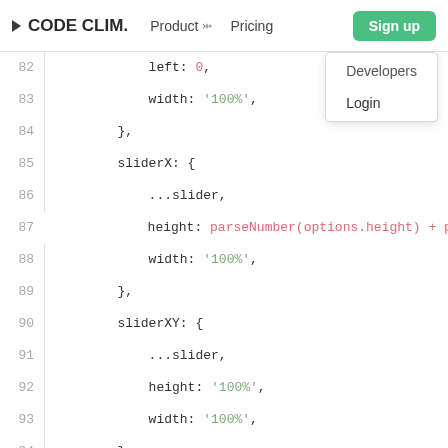CODE CLIM.  Product  Pricing  Sign up  Login  Developers
[Figure (screenshot): Code editor screenshot showing JavaScript object properties for slider configurations (lines 82-97), with syntax highlighting: green for string values like '100%', red for function calls like parseNumber. Navigation bar of Code Climate website visible at top with Sign up dropdown showing Login and Developers options.]